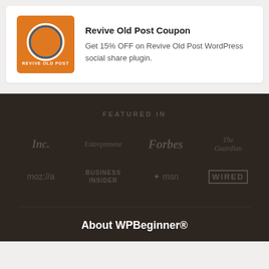[Figure (logo): Revive Old Post plugin logo - orange square with white circle containing a line chart icon, text REVIVE OLD POST below]
Revive Old Post Coupon
Get 15% OFF on Revive Old Post WordPress social share plugin.
FEATURED IN
[Figure (logo): Inc. logo in bold italic serif font]
[Figure (logo): Entrepreneur logo in serif font]
[Figure (logo): Forbes logo in bold italic serif font]
[Figure (logo): The Guardian logo in serif font]
[Figure (logo): moz://a (Mozilla) logo]
[Figure (logo): Business Insider logo in uppercase sans-serif]
[Figure (logo): MSN logo with butterfly icon]
[Figure (logo): WIRED logo in bold uppercase with border]
About WPBeginner®